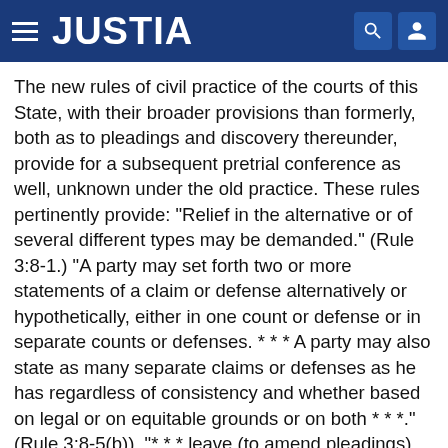JUSTIA
The new rules of civil practice of the courts of this State, with their broader provisions than formerly, both as to pleadings and discovery thereunder, provide for a subsequent pretrial conference as well, unknown under the old practice. These rules pertinently provide: "Relief in the alternative or of several different types may be demanded." (Rule 3:8-1.) "A party may set forth two or more statements of a claim or defense alternatively or hypothetically, either in one count or defense or in separate counts or defenses. * * * A party may also state as many separate claims or defenses as he has regardless of consistency and whether based on legal or on equitable grounds or on both * * *." (Rule 3:8-5(b)). "* * * leave (to amend pleadings) shall be freely given when justice so requires * * *." (Rule 3:15-1.) At the pretrial conference, subsequent to pleadings and discovery, but